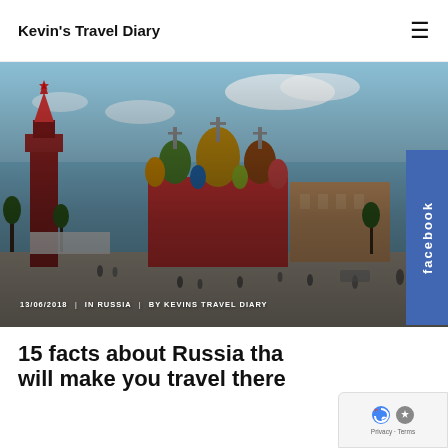Kevin's Travel Diary
[Figure (photo): Photo of Saint Basil's Cathedral in Moscow's Red Square with blue sky, crowds of people walking in the square, and surrounding historic buildings. A large colorful photo used as article hero image.]
15 facts About Russia
13/06/2018  |  IN RUSSIA  |  BY KEVINS TRAVEL DIARY
15 facts about Russia tha will make you travel there